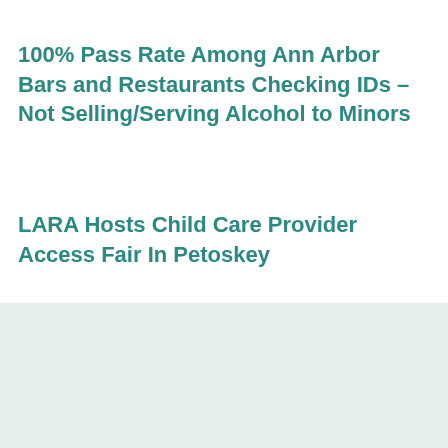100% Pass Rate Among Ann Arbor Bars and Restaurants Checking IDs – Not Selling/Serving Alcohol to Minors
LARA Hosts Child Care Provider Access Fair In Petoskey
Follow us
[Figure (illustration): Social media icons: Facebook, Twitter, YouTube, Instagram, LinkedIn — teal colored circles with white logos]